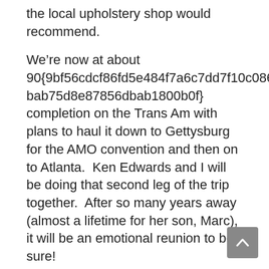the local upholstery shop would recommend.
We’re now at about 90{9bf56cdcf86fd5e484f7a6c7dd7f10c086072f0abab75d8e87856dbab1800b0f} completion on the Trans Am with plans to haul it down to Gettysburg for the AMO convention and then on to Atlanta.  Ken Edwards and I will be doing that second leg of the trip together.  After so many years away (almost a lifetime for her son, Marc), it will be an emotional reunion to be sure!
Editor’s Note:  I should also mention that some parts were heavily corroded and, as NOS replacements were not available, many had to be sandblasted and individually painted in colours as close to stock as possible.   A lot of those paints were available at Canadian Tire...